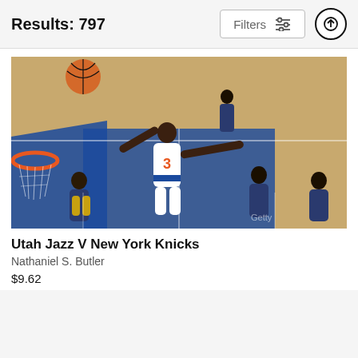Results: 797
[Figure (photo): Basketball action photo: Utah Jazz vs New York Knicks NBA game. A Knicks player (#3) in white uniform stretching to dunk near the basket, with Jazz players in dark uniforms defending. Basketball court with blue paint visible.]
Utah Jazz V New York Knicks
Nathaniel S. Butler
$9.62